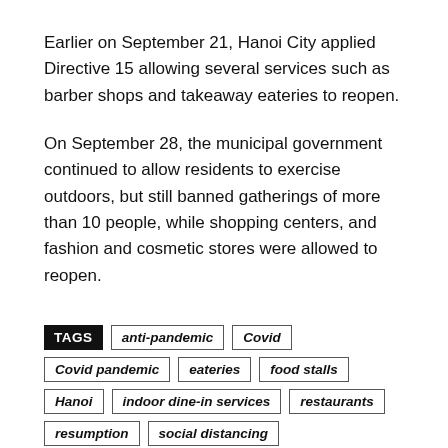Earlier on September 21, Hanoi City applied Directive 15 allowing several services such as barber shops and takeaway eateries to reopen.
On September 28, the municipal government continued to allow residents to exercise outdoors, but still banned gatherings of more than 10 people, while shopping centers, and fashion and cosmetic stores were allowed to reopen.
TAGS: anti-pandemic, Covid, Covid pandemic, eateries, food stalls, Hanoi, indoor dine-in services, restaurants, resumption, social distancing